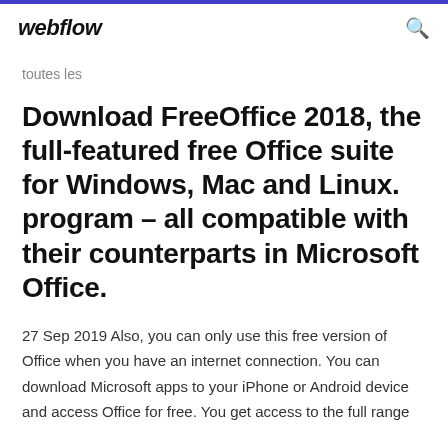webflow
toutes les
Download FreeOffice 2018, the full-featured free Office suite for Windows, Mac and Linux. program – all compatible with their counterparts in Microsoft Office.
27 Sep 2019 Also, you can only use this free version of Office when you have an internet connection. You can download Microsoft apps to your iPhone or Android device and access Office for free. You get access to the full range